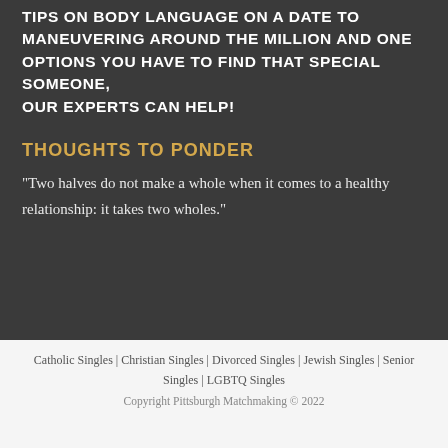TIPS ON BODY LANGUAGE ON A DATE TO MANEUVERING AROUND THE MILLION AND ONE OPTIONS YOU HAVE TO FIND THAT SPECIAL SOMEONE, OUR EXPERTS CAN HELP!
THOUGHTS TO PONDER
“Two halves do not make a whole when it comes to a healthy relationship: it takes two wholes.”
Catholic Singles | Christian Singles | Divorced Singles | Jewish Singles | Senior Singles | LGBTQ Singles
Copyright Pittsburgh Matchmaking © 2022